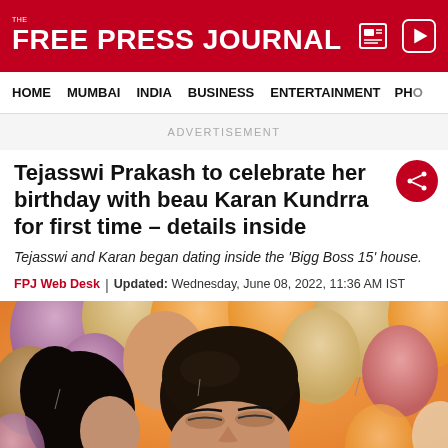THE FREE PRESS JOURNAL
HOME | MUMBAI | INDIA | BUSINESS | ENTERTAINMENT | PHO
ADVERTISEMENT
Tejasswi Prakash to celebrate her birthday with beau Karan Kundrra for first time - details inside
Tejasswi and Karan began dating inside the 'Bigg Boss 15' house.
FPJ Web Desk | Updated: Wednesday, June 08, 2022, 11:36 AM IST
[Figure (photo): A couple near colorful balloons (orange, pink, gold tones). A man with dark hair is visible with eyes closed, surrounded by balloons in orange and pink hues.]